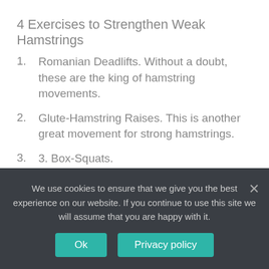4 Exercises to Strengthen Weak Hamstrings
Romanian Deadlifts. Without a doubt, these are the king of hamstring movements.
Glute-Hamstring Raises. This is another great movement for strong hamstrings.
3. Box-Squats.
Single-Leg Stiff-Leg Deadlifts.
How do you tell if your hamstrings are weak?
We use cookies to ensure that we give you the best experience on our website. If you continue to use this site we will assume that you are happy with it.